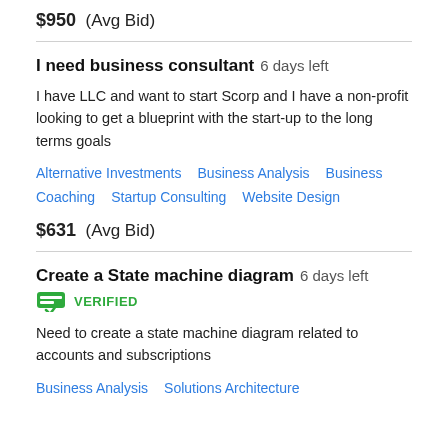$950  (Avg Bid)
I need business consultant  6 days left
I have LLC and want to start Scorp and I have a non-profit looking to get a blueprint with the start-up to the long terms goals
Alternative Investments   Business Analysis   Business Coaching   Startup Consulting   Website Design
$631  (Avg Bid)
Create a State machine diagram  6 days left
VERIFIED
Need to create a state machine diagram related to accounts and subscriptions
Business Analysis   Solutions Architecture